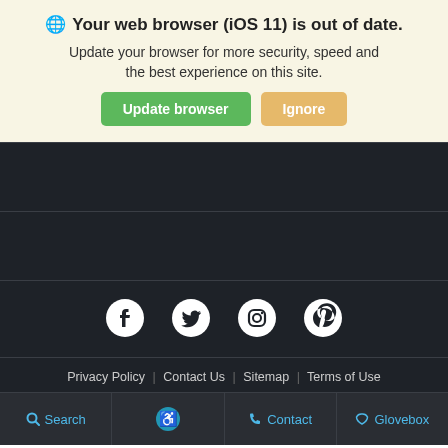Your web browser (iOS 11) is out of date.
Update your browser for more security, speed and the best experience on this site.
Update browser | Ignore
[Figure (other): Dark background content area with horizontal dividers]
[Figure (other): Social media icons row: Facebook, Twitter, Instagram, Pinterest]
Privacy Policy | Contact Us | Sitemap | Terms of Use
Search | (accessibility) | Contact | Glovebox